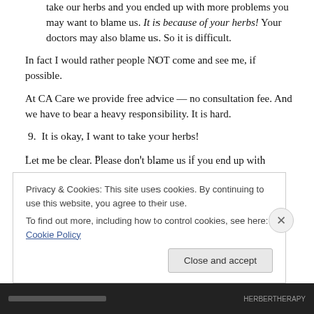take our herbs and you ended up with more problems you may want to blame us. It is because of your herbs! Your doctors may also blame us. So it is difficult.
In fact I would rather people NOT come and see me, if possible.
At CA Care we provide free advice — no consultation fee. And we have to bear a heavy responsibility. It is hard.
9. It is okay, I want to take your herbs!
Let me be clear. Please don't blame us if you end up with
Privacy & Cookies: This site uses cookies. By continuing to use this website, you agree to their use.
To find out more, including how to control cookies, see here: Cookie Policy
Close and accept